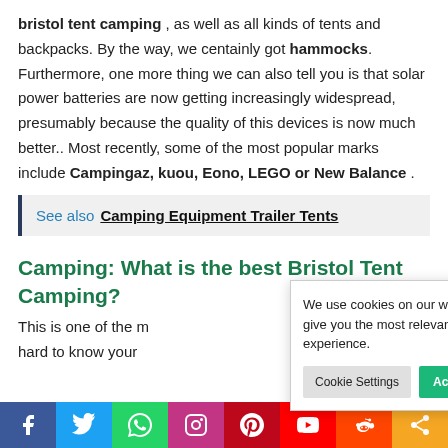bristol tent camping , as well as all kinds of tents and backpacks. By the way, we centainly got hammocks. Furthermore, one more thing we can also tell you is that solar power batteries are now getting increasingly widespread, presumably because the quality of this devices is now much better.. Most recently, some of the most popular marks include Campingaz, kuou, Eono, LEGO or New Balance .
See also  Camping Equipment Trailer Tents
Camping: What is the best Bristol Tent Camping?
This is one of the m... hard to know your...
[Figure (infographic): Cookie consent popup with text 'We use cookies on our website to give you the most relevant experience.' and two buttons: 'Cookie Settings' and 'Accept All']
[Figure (infographic): Social media sharing bar with icons for Facebook, Twitter, WhatsApp, Instagram, Pinterest, YouTube, Reddit, and Share]